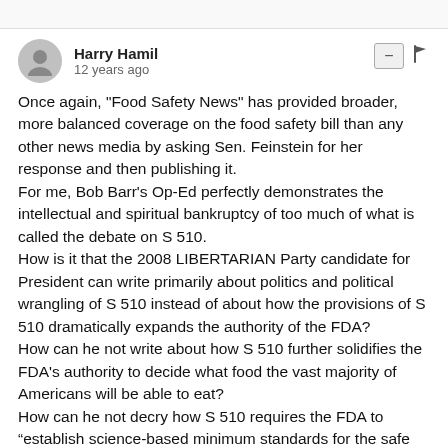Harry Hamil
12 years ago
Once again, "Food Safety News" has provided broader, more balanced coverage on the food safety bill than any other news media by asking Sen. Feinstein for her response and then publishing it.
For me, Bob Barr's Op-Ed perfectly demonstrates the intellectual and spiritual bankruptcy of too much of what is called the debate on S 510.
How is it that the 2008 LIBERTARIAN Party candidate for President can write primarily about politics and political wrangling of S 510 instead of about how the provisions of S 510 dramatically expands the authority of the FDA?
How can he not write about how S 510 further solidifies the FDA's authority to decide what food the vast majority of Americans will be able to eat?
How can he not decry how S 510 requires the FDA to “establish science-based minimum standards for the safe production and harvesting…of fruits and vegetables…that are raw agricultural commodities?